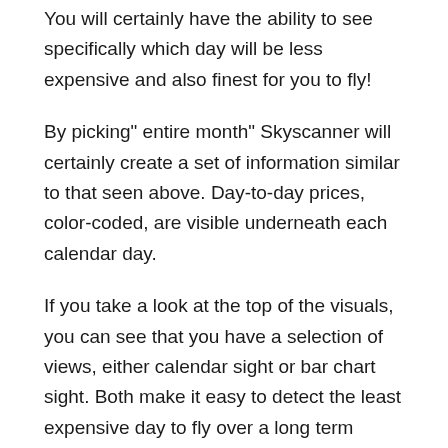You will certainly have the ability to see specifically which day will be less expensive and also finest for you to fly!
By picking" entire month" Skyscanner will certainly create a set of information similar to that seen above. Day-to-day prices, color-coded, are visible underneath each calendar day.
If you take a look at the top of the visuals, you can see that you have a selection of views, either calendar sight or bar chart sight. Both make it easy to detect the least expensive day to fly over a long term duration.
You're not restricted to one month, Skyscanner's blue arrowhead buttons next to the existing month permit you to scroll ahead or in reverse in time, month by month.
If you are a lasting tourist trying to find a following location or maybe you intend to go somewhere for a weekend break however don't know where you'll love Skyscanner's" Anywhere" option